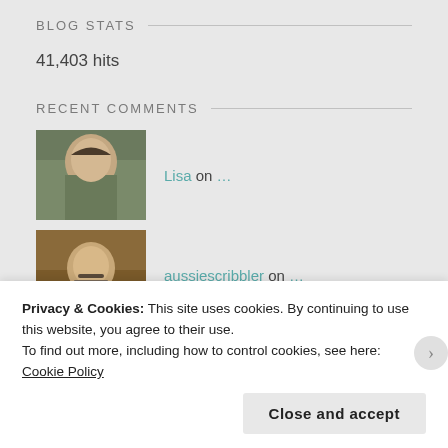BLOG STATS
41,403 hits
RECENT COMMENTS
Lisa on ...
aussiescribbler on ...
aussiescribbler on Well, shit...
Privacy & Cookies: This site uses cookies. By continuing to use this website, you agree to their use.
To find out more, including how to control cookies, see here: Cookie Policy
Close and accept